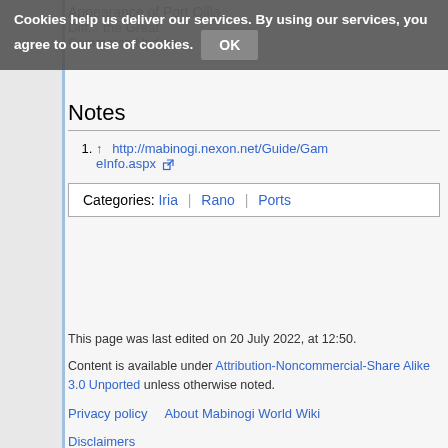Cookies help us deliver our services. By using our services, you agree to our use of cookies. OK
Appearance of Port Qilla ... the Great Commerce Update:
Notes
↑ http://mabinogi.nexon.net/Guide/GameInfo.aspx
Categories: Iria | Rano | Ports
This page was last edited on 20 July 2022, at 12:50. Content is available under Attribution-Noncommercial-Share Alike 3.0 Unported unless otherwise noted. Privacy policy About Mabinogi World Wiki Disclaimers